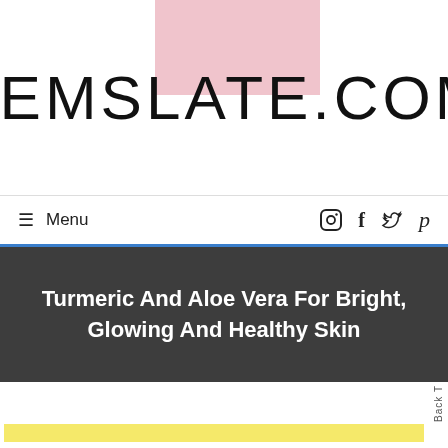FEMSLATE.COM
≡ Menu
Turmeric And Aloe Vera For Bright, Glowing And Healthy Skin